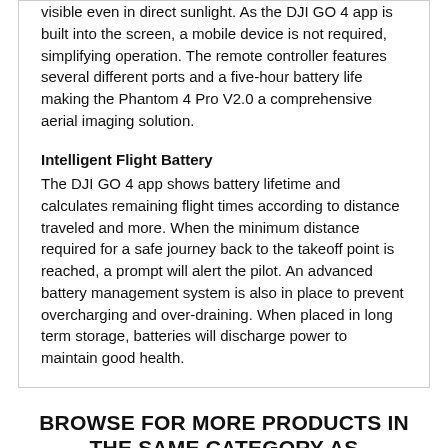visible even in direct sunlight. As the DJI GO 4 app is built into the screen, a mobile device is not required, simplifying operation. The remote controller features several different ports and a five-hour battery life making the Phantom 4 Pro V2.0 a comprehensive aerial imaging solution.
Intelligent Flight Battery
The DJI GO 4 app shows battery lifetime and calculates remaining flight times according to distance traveled and more. When the minimum distance required for a safe journey back to the takeoff point is reached, a prompt will alert the pilot. An advanced battery management system is also in place to prevent overcharging and over-draining. When placed in long term storage, batteries will discharge power to maintain good health.
BROWSE FOR MORE PRODUCTS IN THE SAME CATEGORY AS THIS ITEM: